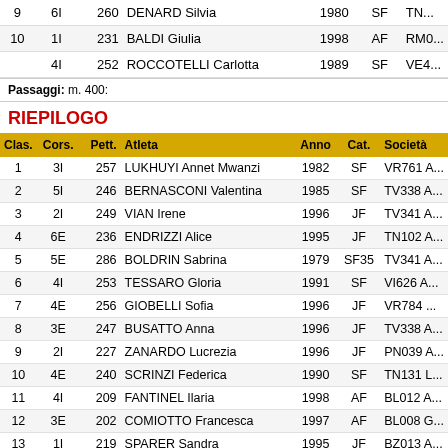|  |  |  |  |  |  |  |
| --- | --- | --- | --- | --- | --- | --- |
| 9 | 6I | 260 | DENARD Silvia | 1980 | SF | TN... |
| 10 | 1I | 231 | BALDI Giulia | 1998 | AF | RM0... |
|  | 4I | 252 | ROCCOTELLI Carlotta | 1989 | SF | VE4... |
Passaggi: m. 400:
RIEPILOGO
| Clas. | Cors. | Pett. | Atleta | Anno | Cat. | Società |
| --- | --- | --- | --- | --- | --- | --- |
| 1 | 3I | 257 | LUKHUYI Annet Mwanzi | 1982 | SF | VR761 A... |
| 2 | 5I | 246 | BERNASCONI Valentina | 1985 | SF | TV338 A... |
| 3 | 2I | 249 | VIAN Irene | 1996 | JF | TV341 A... |
| 4 | 6E | 236 | ENDRIZZI Alice | 1995 | JF | TN102 A... |
| 5 | 5E | 286 | BOLDRIN Sabrina | 1979 | SF35 | TV341 A... |
| 6 | 4I | 253 | TESSARO Gloria | 1991 | SF | VI626 A... |
| 7 | 4E | 256 | GIOBELLI Sofia | 1996 | JF | VR784 ... |
| 8 | 3E | 247 | BUSATTO Anna | 1996 | JF | TV338 A... |
| 9 | 2I | 227 | ZANARDO Lucrezia | 1996 | JF | PN039 A... |
| 10 | 4E | 240 | SCRINZI Federica | 1990 | SF | TN131 L... |
| 11 | 4I | 209 | FANTINEL Ilaria | 1998 | AF | BL012 A... |
| 12 | 3E | 202 | COMIOTTO Francesca | 1997 | AF | BL008 G... |
| 13 | 1I | 219 | SPARER Sandra | 1995 | JF | BZ013 A... |
| 14 | 6E | 215 | BERARDI Alice | 1991 | SF | BS181 A... |
| 15 | 5I | 243 | SAARDI Lobna | 1995 | JF | TN500 A... |
| 16 | 3I | 294 | TISELLI Paola | 1973 | SF40 | RM068 ... |